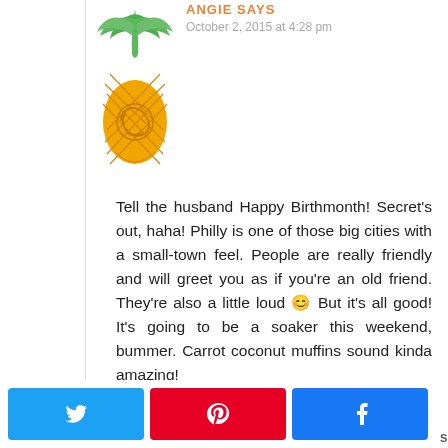[Figure (illustration): Pineapple avatar icon with green leaves on top and orange/yellow body with decorative swirl pattern]
ANGIE SAYS
October 2, 2015 at 4:28 pm
Tell the husband Happy Birthmonth! Secret's out, haha! Philly is one of those big cities with a small-town feel. People are really friendly and will greet you as if you're an old friend. They're also a little loud 😊 But it's all good! It's going to be a soaker this weekend, bummer. Carrot coconut muffins sound kinda amazing!
Reply